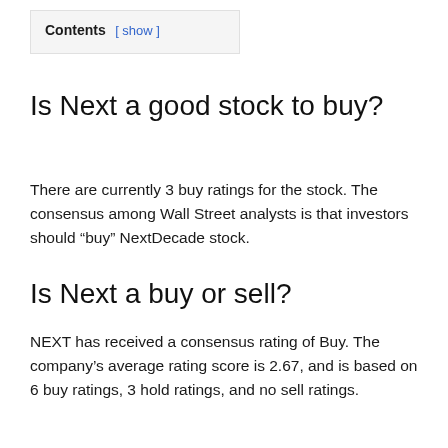Contents [ show ]
Is Next a good stock to buy?
There are currently 3 buy ratings for the stock. The consensus among Wall Street analysts is that investors should “buy” NextDecade stock.
Is Next a buy or sell?
NEXT has received a consensus rating of Buy. The company’s average rating score is 2.67, and is based on 6 buy ratings, 3 hold ratings, and no sell ratings.